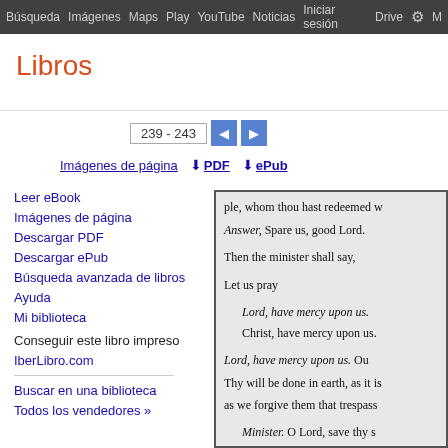Búsqueda  Imágenes  Maps  Play  YouTube  Noticias  Iniciar sesión  Drive  ⚙  M
Libros
239 - 243
Imágenes de página  ↓ PDF  ↓ ePub
Leer eBook
Imágenes de página
Descargar PDF
Descargar ePub
Búsqueda avanzada de libros
Ayuda
Mi biblioteca
Conseguir este libro impreso
IberLibro.com
Buscar en una biblioteca
Todos los vendedores »
[Figure (screenshot): Scanned book page showing liturgical text: 'ple, whom thou hast redeemed w... Answer, Spare us, good Lord. Then the minister shall say, Let us pray Lord, have mercy upon us. Christ, have mercy upon us. Lord, have mercy upon us. Ou... Thy will be done in earth, as it is... as we forgive them that trespass... Minister. O Lord, save thy s...']